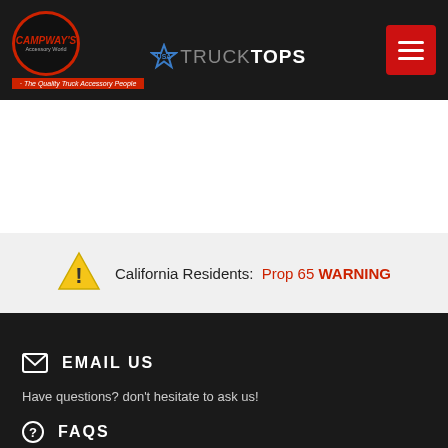[Figure (logo): Campway's logo - circular red border with text, and Truck Tops logo with star icon, on dark header bar with hamburger menu button]
[Figure (infographic): Yellow triangle warning icon with exclamation mark]
California Residents:  Prop 65 WARNING
EMAIL US
Have questions? don't hesitate to ask us!
FAQS